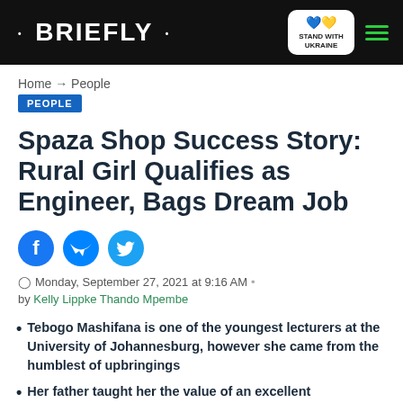• BRIEFLY •  STAND WITH UKRAINE
Home → People
PEOPLE
Spaza Shop Success Story: Rural Girl Qualifies as Engineer, Bags Dream Job
Monday, September 27, 2021 at 9:16 AM · by Kelly Lippke Thando Mpembe
Tebogo Mashifana is one of the youngest lecturers at the University of Johannesburg, however she came from the humblest of upbringings
Her father taught her the value of an excellent...